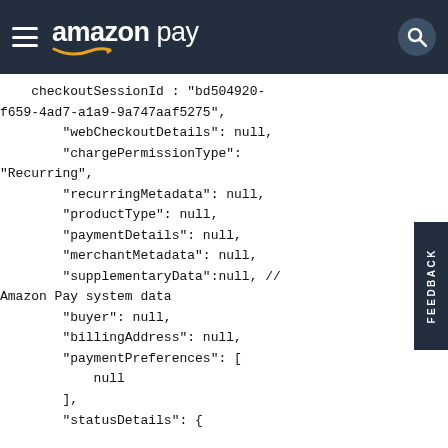Amazon Pay
checkoutSessionId : "bd504920-f659-4ad7-a1a9-9a747aaf5275",
        "webCheckoutDetails": null,
        "chargePermissionType": "Recurring",
        "recurringMetadata": null,
        "productType": null,
        "paymentDetails": null,
        "merchantMetadata": null,
        "supplementaryData":null, // Amazon Pay system data
        "buyer": null,
        "billingAddress": null,
        "paymentPreferences": [
            null
        ],
        "statusDetails": {